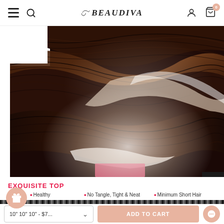[Figure (screenshot): Beaudiva e-commerce website navigation bar with hamburger menu, search icon, Beaudiva logo, user account icon, and shopping cart with 0 items badge]
[Figure (photo): Close-up photo of dark brown wavy human hair bundle product showing texture and wave pattern, with a pink brand label partially visible at bottom]
EXQUISITE TOP
Healthy
No Tangle, Tight & Neat
Minimum Short Hair
10" 10" 10" - $7...
ADD TO CART